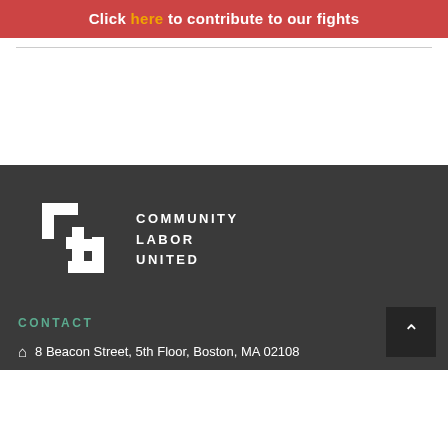Click here to contribute to our fights
[Figure (logo): Community Labor United logo — white CLU icon mark with text COMMUNITY LABOR UNITED on dark background]
CONTACT
8 Beacon Street, 5th Floor, Boston, MA 02108